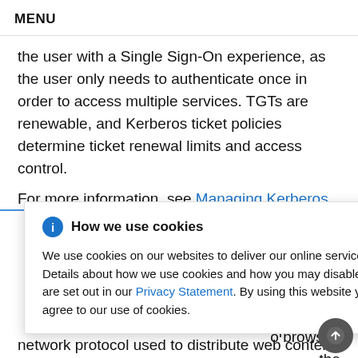MENU
the user with a Single Sign-On experience, as the user only needs to authenticate once in order to access multiple services. TGTs are renewable, and Kerberos ticket policies determine ticket renewal limits and access control.
For more information, see Managing Kerberos
How we use cookies — We use cookies on our websites to deliver our online services. Details about how we use cookies and how you may disable them are set out in our Privacy Statement. By using this website you agree to our use of cookies.
oftware quests for
o browser, , the
network protocol used to distribute web content,